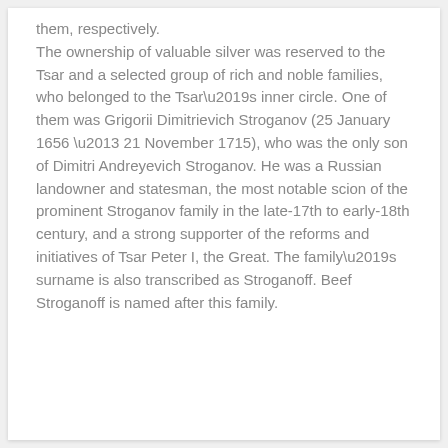them, respectively. The ownership of valuable silver was reserved to the Tsar and a selected group of rich and noble families, who belonged to the Tsar’s inner circle. One of them was Grigorii Dimitrievich Stroganov (25 January 1656 – 21 November 1715), who was the only son of Dimitri Andreyevich Stroganov. He was a Russian landowner and statesman, the most notable scion of the prominent Stroganov family in the late-17th to early-18th century, and a strong supporter of the reforms and initiatives of Tsar Peter I, the Great. The family’s surname is also transcribed as Stroganoff. Beef Stroganoff is named after this family.